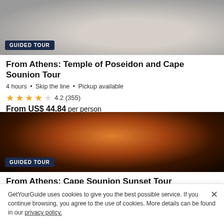[Figure (photo): Tour group of people standing on rocky terrain, viewed from behind]
GUIDED TOUR
From Athens: Temple of Poseidon and Cape Sounion Tour
4 hours • Skip the line • Pickup available
4.2 (355)
From US$ 44.84 per person
[Figure (photo): Sunset over the sea with mountain silhouette and sailboat]
GUIDED TOUR
From Athens: Cape Sounion Sunset Tour
4 hours • Pickup available
GetYourGuide uses cookies to give you the best possible service. If you continue browsing, you agree to the use of cookies. More details can be found in our privacy policy.